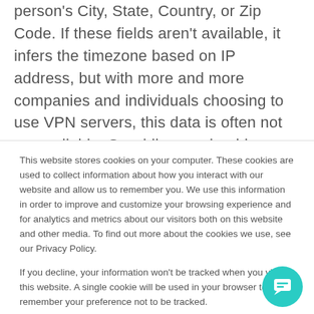person's City, State, Country, or Zip Code. If these fields aren't available, it infers the timezone based on IP address, but with more and more companies and individuals choosing to use VPN servers, this data is often not very reliable. So while you should see an overall positive result from using the feature, it could mean some of
This website stores cookies on your computer. These cookies are used to collect information about how you interact with our website and allow us to remember you. We use this information in order to improve and customize your browsing experience and for analytics and metrics about our visitors both on this website and other media. To find out more about the cookies we use, see our Privacy Policy.
If you decline, your information won't be tracked when you visit this website. A single cookie will be used in your browser to remember your preference not to be tracked.